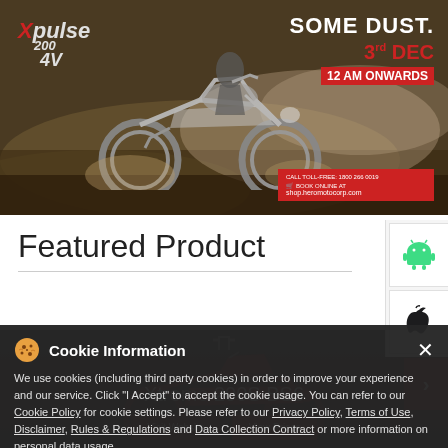[Figure (photo): Hero banner ad for Hero MotoCorp Xpulse 4V motorcycle. Off-road motorcycle riding through dust. Text: 'SOME DUST. 3rd DEC 12 AM ONWARDS'. Xpulse 4V logo on left. Book online CTA box.]
Featured Product
[Figure (photo): Dark background product image area showing Xtreme 200S BS6 motorcycle in red, partially visible behind cookie consent overlay. Visit Website and View Prices buttons visible at bottom.]
Cookie Information
We use cookies (including third party cookies) in order to improve your experience and our service. Click "I Accept" to accept the cookie usage. You can refer to our Cookie Policy for cookie settings. Please refer to our Privacy Policy, Terms of Use, Disclaimer, Rules & Regulations and Data Collection Contract or more information on personal data usage.
Xtreme 200S BS6